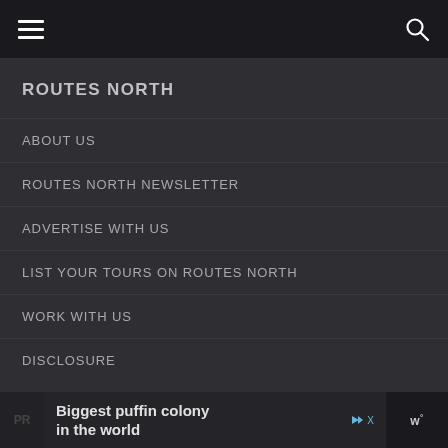Routes North navigation header with hamburger menu and search icon
ROUTES NORTH
ABOUT US
ROUTES NORTH NEWSLETTER
ADVERTISE WITH US
LIST YOUR TOURS ON ROUTES NORTH
WORK WITH US
DISCLOSURE
Biggest puffin colony in the world